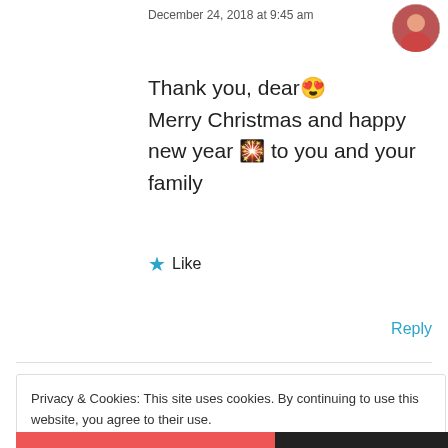December 24, 2018 at 9:45 am
Thank you, dear 😍
Merry Christmas and happy new year 🎇 to you and your family
★ Like
Reply
Privacy & Cookies: This site uses cookies. By continuing to use this website, you agree to their use.
To find out more, including how to control cookies, see here: Cookie Policy
Close and accept